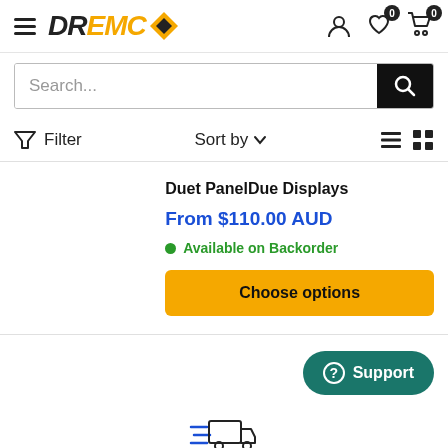[Figure (logo): DREMC logo with orange diamond icon]
Search...
Filter  Sort by
Duet PanelDue Displays
From $110.00 AUD
Available on Backorder
Choose options
Support
[Figure (illustration): Delivery truck icon with speed lines]